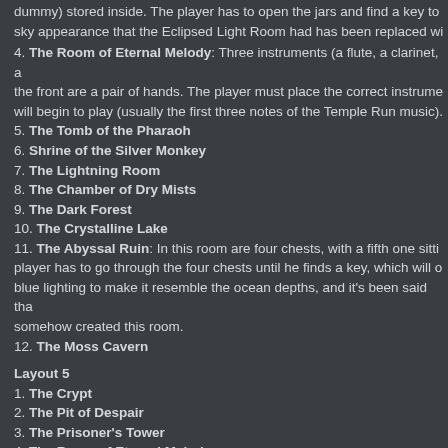dummy) stored inside. The player has to open the jars and find a key to sky appearance that the Eclipsed Light Room had has been replaced wi
4. The Room of Eternal Melody: Three instruments (a flute, a clarinet, a the front are a pair of hands. The player must place the correct instrume will begin to play (usually the first three notes of the Temple Run music).
5. The Tomb of the Pharaoh
6. Shrine of the Silver Monkey
7. The Lightning Room
8. The Chamber of Dry Mists
9. The Dark Forest
10. The Crystalline Lake
11. The Abyssal Ruin: In this room are four chests, with a fifth one sitti player has to go through the four chests until he finds a key, which will o blue lighting to make it resemble the ocean depths, and it's been said th somehow created this room.
12. The Moss Cavern
Layout 5
1. The Crypt
2. The Pit of Despair
3. The Prisoner's Tower
4. The Room of Eternal Melody
5. The Hall of Memories: In the front of the room is a basket with the pl three artifacts, of which one of them was once sought after by their team retrieved from the Temple; artifacts that were at least grabbed before tim put the correct artifact in the basket to move on. The room has a light br Temple Guards to come out of, making it look similar to a room that cam
6. Shrine of the Silver Monkey